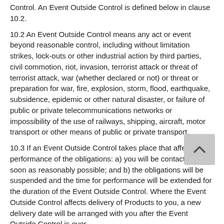Control. An Event Outside Control is defined below in clause 10.2.
10.2 An Event Outside Control means any act or event beyond reasonable control, including without limitation strikes, lock-outs or other industrial action by third parties, civil commotion, riot, invasion, terrorist attack or threat of terrorist attack, war (whether declared or not) or threat or preparation for war, fire, explosion, storm, flood, earthquake, subsidence, epidemic or other natural disaster, or failure of public or private telecommunications networks or impossibility of the use of railways, shipping, aircraft, motor transport or other means of public or private transport.
10.3 If an Event Outside Control takes place that affects the performance of the obligations: a) you will be contacted as soon as reasonably possible; and b) the obligations will be suspended and the time for performance will be extended for the duration of the Event Outside Control. Where the Event Outside Control affects delivery of Products to you, a new delivery date will be arranged with you after the Event Outside Control is over.
11. Communications between us
11.1 When we refer, in these Terms, to “in writing”, this will